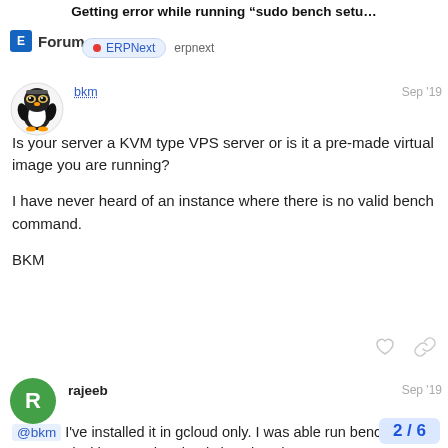Getting error while running “sudo bench setu…
Forum  ERPNext  erpnext
[Figure (photo): Avatar image of user bkm (cartoon penguin with goggles)]
bkm Sep '19
Is your server a KVM type VPS server or is it a pre-made virtual image you are running?

I have never heard of an instance where there is no valid bench command.

BKM
[Figure (illustration): Avatar circle with letter R, green background, for user rajeeb]
rajeeb  Sep '19
@bkm I've installed it in gcloud only. I was able run bench command with out sudo. That is how i've done erpnext implementation. But in this case it is aski previlage for running this command. if i ru